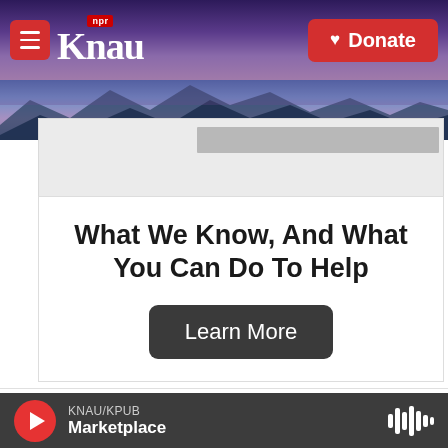KNAU NPR — Donate
[Figure (screenshot): KNAU NPR radio station website header with purple mountain background, hamburger menu button, KNAU logo, and red Donate button]
What We Know, And What You Can Do To Help
Learn More
Comments   Community   🔒   1   Login
KNAU/KPUB Marketplace